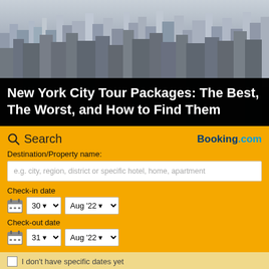[Figure (photo): Aerial view of New York City skyscrapers and dense urban skyline, used as hero background image for a travel article about NYC tour packages.]
New York City Tour Packages: The Best, The Worst, and How to Find Them
Search  |  Booking.com
Destination/Property name:
e.g. city, region, district or specific hotel, home, apartment
Check-in date
30  Aug '22
Check-out date
31  Aug '22
I don't have specific dates yet
✓ Book now, pay later
✓ We Price Match